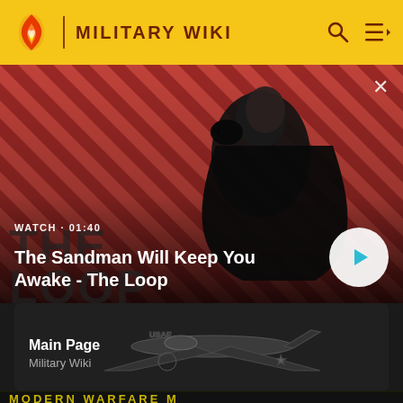MILITARY WIKI
[Figure (screenshot): Video thumbnail banner: dark-haired man in black cloak with a raven on his shoulder, red diagonal striped background, title 'The Loop' visible. Text overlay: WATCH · 01:40 / The Sandman Will Keep You Awake - The Loop. Play button in bottom right.]
[Figure (illustration): Dark card with illustration of a US military aircraft (USAF markings) on a dark background. Text: Main Page / Military Wiki.]
[Figure (screenshot): Partial bottom banner showing 'MODERN WARFARE M' text in yellow/green on dark background.]